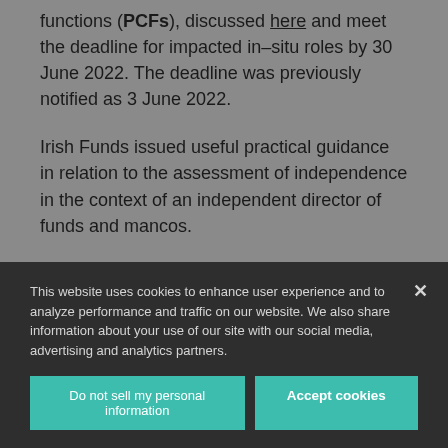functions (PCFs), discussed here and meet the deadline for impacted in-situ roles by 30 June 2022. The deadline was previously notified as 3 June 2022.
Irish Funds issued useful practical guidance in relation to the assessment of independence in the context of an independent director of funds and mancos.
Please speak with your usual contact on the ALG Asset Management & Investment Funds team for
This website uses cookies to enhance user experience and to analyze performance and traffic on our website. We also share information about your use of our site with our social media, advertising and analytics partners.